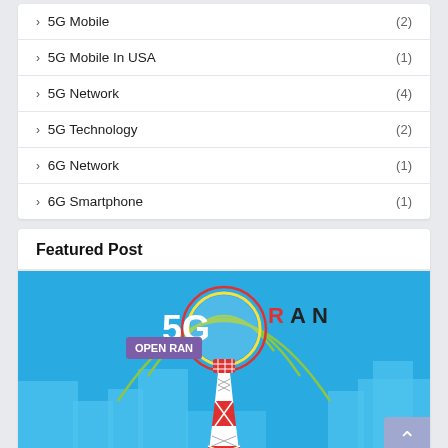› 5G Mobile (2)
› 5G Mobile In USA (1)
› 5G Network (4)
› 5G Technology (2)
› 6G Network (1)
› 6G Smartphone (1)
Featured Post
[Figure (illustration): 5G RAN illustration showing a cell tower with 5G and RAN text, signal arcs in green, and a city skyline background. Badge reads OPEN RAN.]